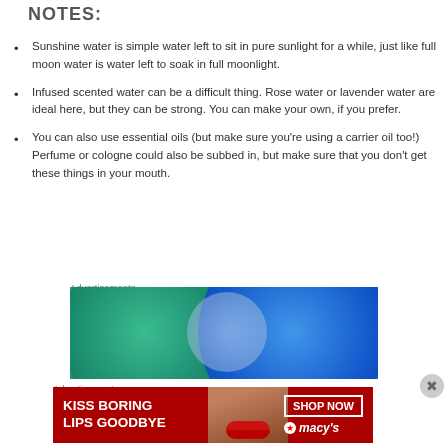NOTES:
Sunshine water is simple water left to sit in pure sunlight for a while, just like full moon water is water left to soak in full moonlight.
Infused scented water can be a difficult thing. Rose water or lavender water are ideal here, but they can be strong. You can make your own, if you prefer.
You can also use essential oils (but make sure you’re using a carrier oil too!) Perfume or cologne could also be subbed in, but make sure that you don’t get these things in your mouth.
Advertisements
[Figure (illustration): Advertisement banner showing two overlapping circles (green and blue) on a teal/blue background, resembling a Venn diagram style graphic.]
Advertisements
[Figure (photo): Macy's advertisement banner with red background showing text 'KISS BORING LIPS GOODBYE' with SHOP NOW button and Macy's logo, with a woman's face featuring red lips.]